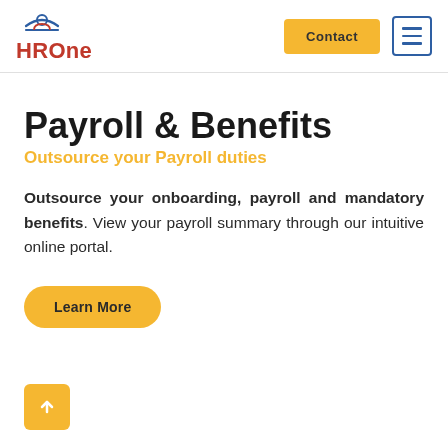HROne | Contact | Menu
Payroll & Benefits
Outsource your Payroll duties
Outsource your onboarding, payroll and mandatory benefits. View your payroll summary through our intuitive online portal.
Learn More